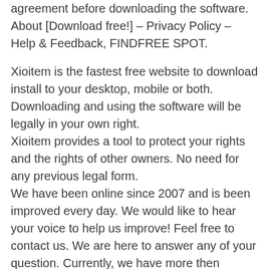agreement before downloading the software. About [Download free!] – Privacy Policy – Help & Feedback, FINDFREE SPOT.
Xioitem is the fastest free website to download install to your desktop, mobile or both. Downloading and using the software will be legally in your own right. Xioitem provides a tool to protect your rights and the rights of other owners. No need for any previous legal form. We have been online since 2007 and is been improved every day. We would like to hear your voice to help us improve! Feel free to contact us. We are here to answer any of your question. Currently, we have more then 15.000 registered users. If you are not registered please go on register and wait the verification and we will be glad to take you in!